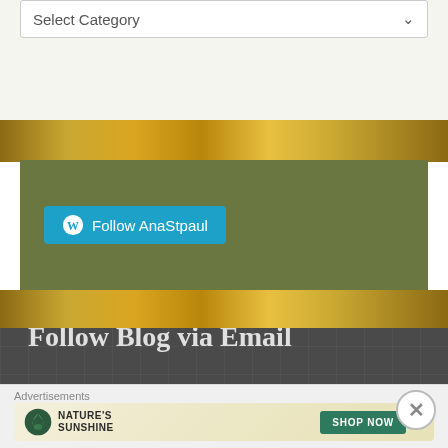[Figure (screenshot): Dropdown selector labeled 'Select Category' with down arrow on white background]
[Figure (photo): Gold ornate decorative background strip]
[Figure (screenshot): Olive green box with cyan WordPress Follow button labeled 'Follow AnaStpaul']
[Figure (screenshot): Dark grey textured section with 'Follow Blog via Email' heading and descriptive text, and advertisement banner at bottom for Nature's Sunshine with SHOP NOW button]